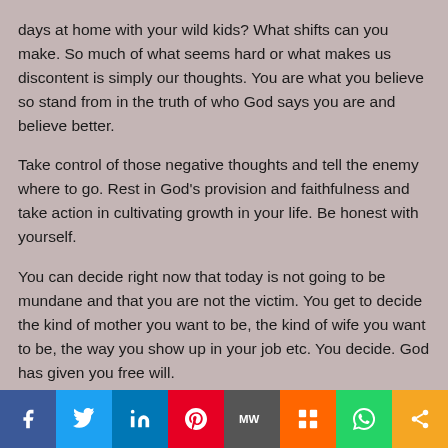days at home with your wild kids? What shifts can you make. So much of what seems hard or what makes us discontent is simply our thoughts. You are what you believe so stand from in the truth of who God says you are and believe better.
Take control of those negative thoughts and tell the enemy where to go. Rest in God's provision and faithfulness and take action in cultivating growth in your life. Be honest with yourself.
You can decide right now that today is not going to be mundane and that you are not the victim. You get to decide the kind of mother you want to be, the kind of wife you want to be, the way you show up in your job etc. You decide. God has given you free will.
You mini...
[Figure (infographic): Social media share bar with icons for Facebook, Twitter, LinkedIn, Pinterest, MeWe, Mix, WhatsApp, and Share]